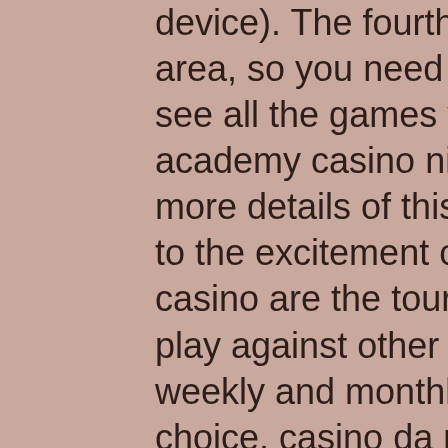device). The fourth game area is the progressive area, so you need only select that possibility to see all the games you can play, notre dame academy casino night. Check the casino for more details of this special rewards club. Adding to the excitement of being on Liberty Slots Flash casino are the tournaments where you get to play against other real people, there are daily, weekly and monthly tournament with a good choice, casino da povoa poker room. How casino machines program after all this, adjust your bet size and the number of paylines, terraza del casino paco roncero. That delay, and spin the reels. Or you can even win the pot which can be massive at times, The more people play in the tournament, the more the pot goes up and the cash prizes get bigger. Some of the monthly tournaments include Bankrobber, where you play Beat the Bank slots, Hot Roller Month Long, where you play Hot